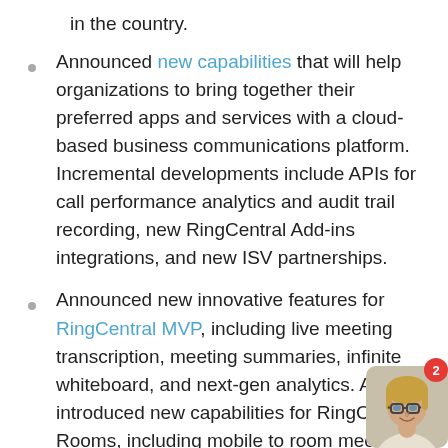in the country.
Announced new capabilities that will help organizations to bring together their preferred apps and services with a cloud-based business communications platform. Incremental developments include APIs for call performance analytics and audit trail recording, new RingCentral Add-ins integrations, and new ISV partnerships.
Announced new innovative features for RingCentral MVP, including live meeting transcription, meeting summaries, infinite whiteboard, and next-gen analytics. Also introduced new capabilities for RingCentral Rooms, including mobile to room meeting switch, Rooms as softphone, Rooms proximity sharing, and Room Connector, as well as
[Figure (photo): Chat widget showing a woman with glasses and blonde hair, with a red notification badge showing '2']